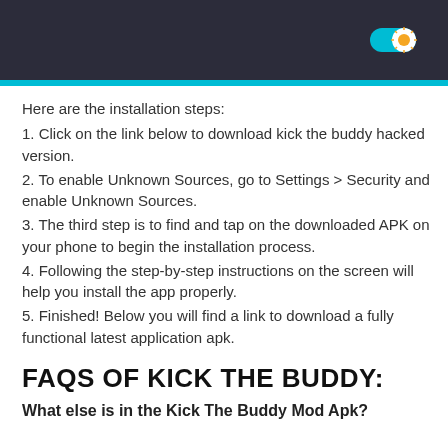Here are the installation steps:
1. Click on the link below to download kick the buddy hacked version.
2. To enable Unknown Sources, go to Settings > Security and enable Unknown Sources.
3. The third step is to find and tap on the downloaded APK on your phone to begin the installation process.
4. Following the step-by-step instructions on the screen will help you install the app properly.
5. Finished! Below you will find a link to download a fully functional latest application apk.
FAQS OF KICK THE BUDDY:
What else is in the Kick The Buddy Mod Apk?